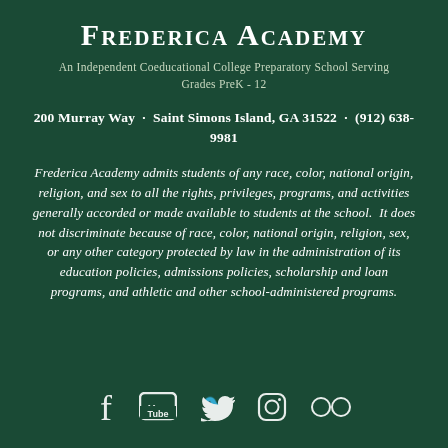Frederica Academy
An Independent Coeducational College Preparatory School Serving Grades PreK - 12
200 Murray Way  ·  Saint Simons Island, GA 31522  ·  (912) 638-9981
Frederica Academy admits students of any race, color, national origin, religion, and sex to all the rights, privileges, programs, and activities generally accorded or made available to students at the school.  It does not discriminate because of race, color, national origin, religion, sex, or any other category protected by law in the administration of its education policies, admissions policies, scholarship and loan programs, and athletic and other school-administered programs.
[Figure (other): Social media icons: Facebook, YouTube, Twitter, Instagram, Flickr]